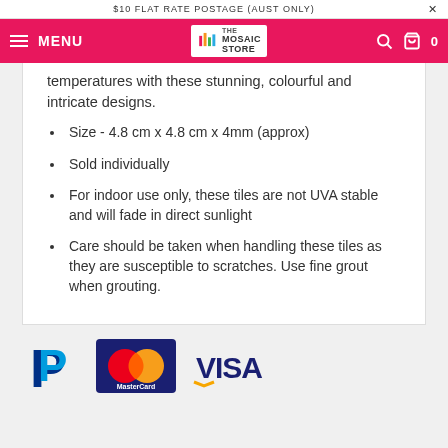$10 FLAT RATE POSTAGE (AUST ONLY)
[Figure (logo): The Mosaic Store navigation bar with hamburger menu, logo, search and cart icons]
temperatures with these stunning, colourful and intricate designs.
Size - 4.8 cm x 4.8 cm x 4mm (approx)
Sold individually
For indoor use only, these tiles are not UVA stable and will fade in direct sunlight
Care should be taken when handling these tiles as they are susceptible to scratches. Use fine grout when grouting.
[Figure (logo): PayPal, Mastercard, and Visa payment logos]